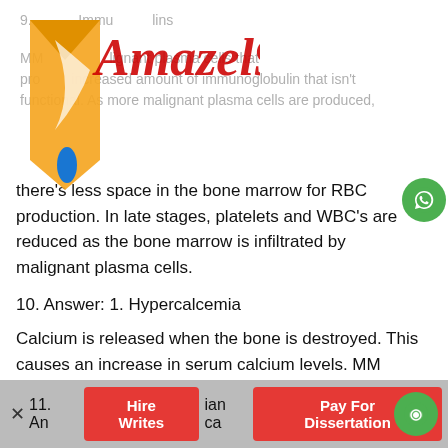[Figure (logo): Amazel990 watermark logo overlaid on the page content]
9. Answer: Immunoglobulins
MM is a cancer of malignant plasma cells that produce an increased amount of immunoglobulin that isn't functional. As more malignant plasma cells are produced, there's less space in the bone marrow for RBC production. In late stages, platelets and WBC's are reduced as the bone marrow is infiltrated by malignant plasma cells.
10. Answer: 1. Hypercalcemia
Calcium is released when the bone is destroyed. This causes an increase in serum calcium levels. MM doesn't affect potassium, sodium, or magnesium levels.
11. An... ian ca...